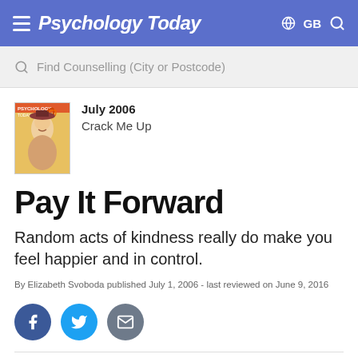Psychology Today — GB
Find Counselling (City or Postcode)
[Figure (photo): Psychology Today magazine cover, July 2006 issue, showing a woman in a hat]
July 2006
Crack Me Up
Pay It Forward
Random acts of kindness really do make you feel happier and in control.
By Elizabeth Svoboda published July 1, 2006 - last reviewed on June 9, 2016
[Figure (infographic): Social share buttons: Facebook, Twitter, Email]